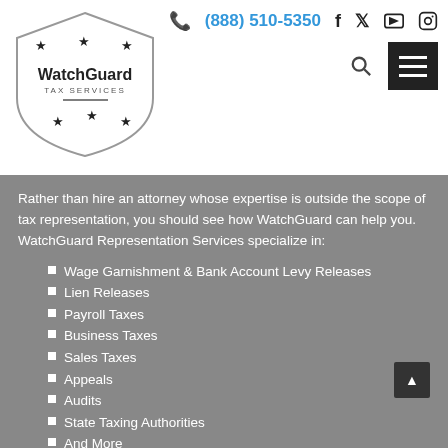WatchGuard Tax Services | (888) 510-5350
Rather than hire an attorney whose expertise is outside the scope of tax representation, you should see how WatchGuard can help you. WatchGuard Representation Services specialize in:
Wage Garnishment & Bank Account Levy Releases
Lien Releases
Payroll Taxes
Business Taxes
Sales Taxes
Appeals
Audits
State Taxing Authorities
And More
Our Enrolled Agents are likely your best bet for affordability, convenience, and experience. Call, chat, or fill out the contact form on